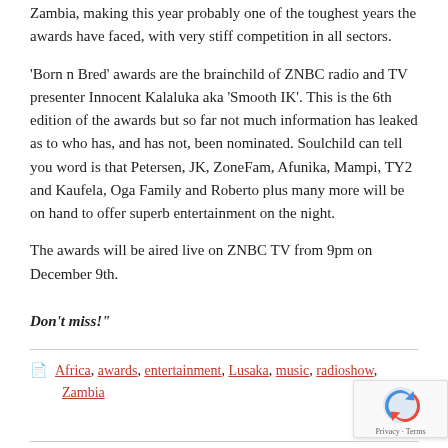Zambia, making this year probably one of the toughest years the awards have faced, with very stiff competition in all sectors.
'Born n Bred' awards are the brainchild of ZNBC radio and TV presenter Innocent Kalaluka aka 'Smooth IK'. This is the 6th edition of the awards but so far not much information has leaked as to who has, and has not, been nominated. Soulchild can tell you word is that Petersen, JK, ZoneFam, Afunika, Mampi, TY2 and Kaufela, Oga Family and Roberto plus many more will be on hand to offer superb entertainment on the night.
The awards will be aired live on ZNBC TV from 9pm on December 9th.
Don't miss!"
Africa, awards, entertainment, Lusaka, music, radioshow, Zambia